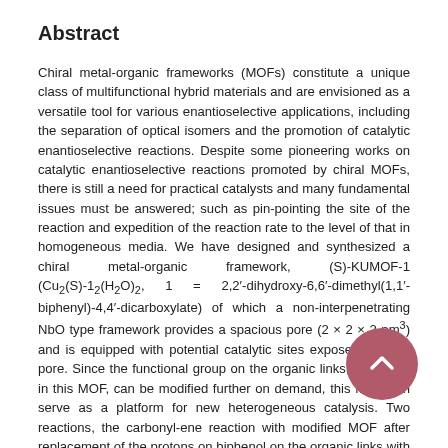Abstract
Chiral metal-organic frameworks (MOFs) constitute a unique class of multifunctional hybrid materials and are envisioned as a versatile tool for various enantioselective applications, including the separation of optical isomers and the promotion of catalytic enantioselective reactions. Despite some pioneering works on catalytic enantioselective reactions promoted by chiral MOFs, there is still a need for practical catalysts and many fundamental issues must be answered; such as pin-pointing the site of the reaction and expedition of the reaction rate to the level of that in homogeneous media. We have designed and synthesized a chiral metal-organic framework, (S)-KUMOF-1 (Cu₂(S)-1₂(H₂O)₂, 1 = 2,2′-dihydroxy-6,6′-dimethyl(1,1′-biphenyl)-4,4′-dicarboxylate) of which a non-interpenetrating NbO type framework provides a spacious pore (2 × 2 × 2 nm³) and is equipped with potential catalytic sites exposed into the pore. Since the functional group on the organic links, biphenols in this MOF, can be modified further on demand, this MOF can serve as a platform for new heterogeneous catalysis. Two reactions, the carbonyl-ene reaction with modified MOF after replacement of the protons on biphenol on the organic links with Zn(II) and the hetero-Diels-Alder reaction with Ti(IV), respectively, were studied. In